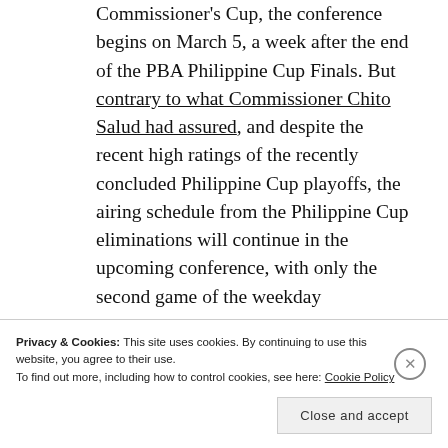Commissioner's Cup, the conference begins on March 5, a week after the end of the PBA Philippine Cup Finals. But contrary to what Commissioner Chito Salud had assured, and despite the recent high ratings of the recently concluded Philippine Cup playoffs, the airing schedule from the Philippine Cup eliminations will continue in the upcoming conference, with only the second game of the weekday
Privacy & Cookies: This site uses cookies. By continuing to use this website, you agree to their use.
To find out more, including how to control cookies, see here: Cookie Policy
Close and accept